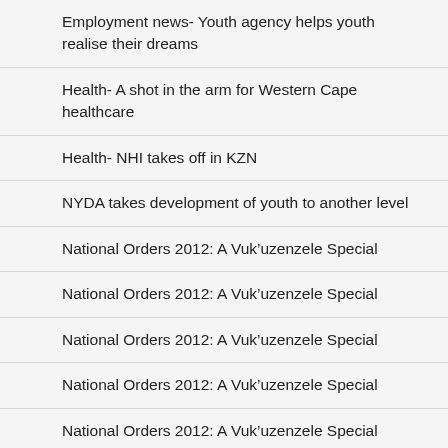Employment news- Youth agency helps youth realise their dreams
Health- A shot in the arm for Western Cape healthcare
Health- NHI takes off in KZN
NYDA takes development of youth to another level
National Orders 2012: A Vuk’uzenzele Special
National Orders 2012: A Vuk’uzenzele Special
National Orders 2012: A Vuk’uzenzele Special
National Orders 2012: A Vuk’uzenzele Special
National Orders 2012: A Vuk’uzenzele Special
Retired, but far from tired
Rural development -Legacy project bridges the rural divide